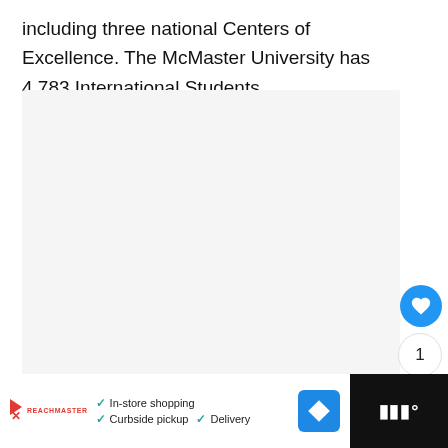including three national Centers of Excellence. The McMaster University has 4,783 International Students.
[Figure (other): Light gray content placeholder box with UI overlay buttons (like, count, share) and a 'What's Next' card showing 'The Best Chemistry...' teaser]
[Figure (screenshot): Advertisement bar at the bottom with dark background. White area shows a red triangle logo, checkmarks for 'In-store shopping', 'Curbside pickup', 'Delivery', and a blue navigation diamond icon.]